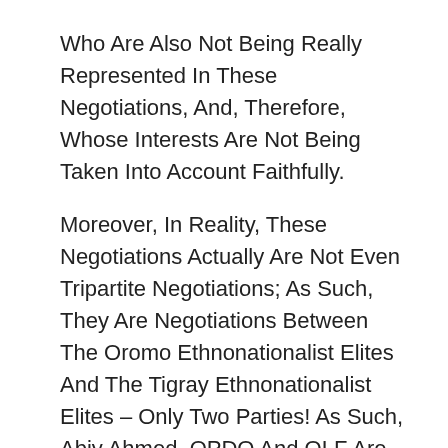Who Are Also Not Being Really Represented In These Negotiations, And, Therefore, Whose Interests Are Not Being Taken Into Account Faithfully.
Moreover, In Reality, These Negotiations Actually Are Not Even Tripartite Negotiations; As Such, They Are Negotiations Between The Oromo Ethnonationalist Elites And The Tigray Ethnonationalist Elites – Only Two Parties! As Such, Abiy Ahmed, OPDO And OLF Are There To Advance The Interests Of The Oromo